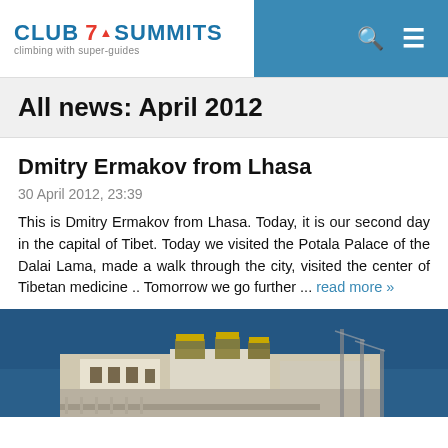CLUB 7 SUMMITS climbing with super-guides
All news: April 2012
Dmitry Ermakov from Lhasa
30 April 2012, 23:39
This is Dmitry Ermakov from Lhasa. Today, it is our second day in the capital of Tibet. Today we visited the Potala Palace of the Dalai Lama, made a walk through the city, visited the center of Tibetan medicine .. Tomorrow we go further ... read more »
[Figure (photo): Photo of a Tibetan palace/temple building against a blue sky, with watermarks 'KlubVershin.ru' and '7summitsClub.com']